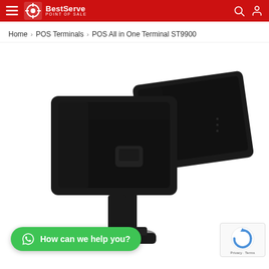BestServe Point of Sale
Home > POS Terminals > POS All in One Terminal ST9900
[Figure (photo): Dual-screen POS All in One Terminal ST9900 with two black touchscreen displays mounted back-to-back on a stand, shown against a white background.]
How can we help you?